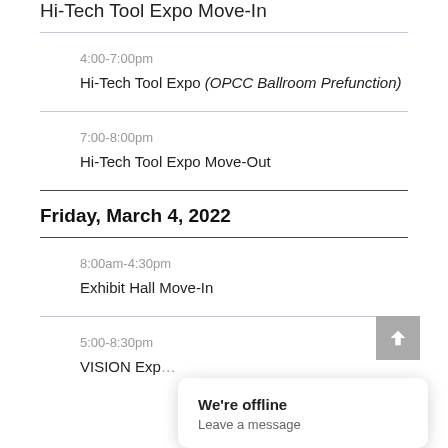Hi-Tech Tool Expo Move-In
4:00-7:00pm
Hi-Tech Tool Expo (OPCC Ballroom Prefunction)
7:00-8:00pm
Hi-Tech Tool Expo Move-Out
Friday, March 4, 2022
8:00am-4:30pm
Exhibit Hall Move-In
5:00-8:30pm
VISION Exp…
We're offline
Leave a message